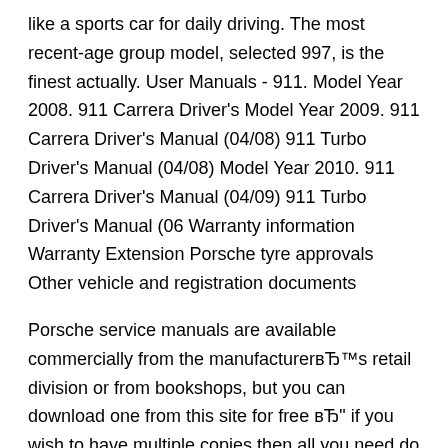like a sports car for daily driving. The most recent-age group model, selected 997, is the finest actually. User Manuals - 911. Model Year 2008. 911 Carrera Driver's Model Year 2009. 911 Carrera Driver's Manual (04/08) 911 Turbo Driver's Manual (04/08) Model Year 2010. 911 Carrera Driver's Manual (04/09) 911 Turbo Driver's Manual (06 Warranty information Warranty Extension Porsche tyre approvals Other vehicle and registration documents
Porsche service manuals are available commercially from the manufacturer’s retail division or from bookshops, but you can download one from this site for free – if you wish to have multiple copies then all you need do is print off as many as you need. Free Full download of 2009 Porsche 911 Carrera Repair Manual Click Here to Download Apr 30, 2019· 2009 Porsche 911 Owners Manual – The Porsche 911 combines driving exhilaration with each day